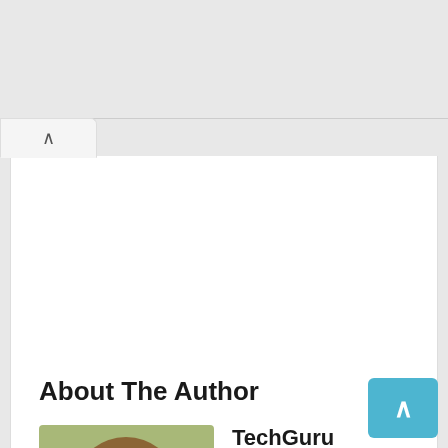About The Author
[Figure (photo): Headshot of a young man with short brown hair and glasses, wearing a dark jacket, with a blurred green/yellow background.]
TechGuru
Known as the "Tech Guru", he's an expert of current and trending technology. Here at NerdTechy, he makes tech easy to understand for